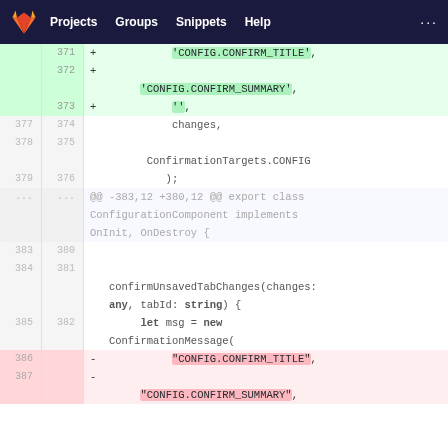[Figure (screenshot): GitLab navigation bar with logo, Projects, Groups, Snippets, Help links on dark navy background]
Code diff view showing git changes in a TypeScript file. Added lines (green): 371: 'CONFIG.CONFIRM_TITLE', 372: 'CONFIG.CONFIRM_SUMMARY', 373: ''. Context lines 377/374: changes, 378/375: ConfirmationTargets.CONFIG, 379/376: ); Hunk header: @@ -383,12 +380,12 @@ export class ConfigurationComponent implements OnInit, OnDestroy { Context 383/380, 384/381: confirmUnsavedTabChanges(changes: any, tabId: string) { let msg = new ConfirmationMessage( Removed lines (red): 386: "CONFIG.CONFIRM_TITLE", 387: "CONFIG.CONFIRM_SUMMARY",